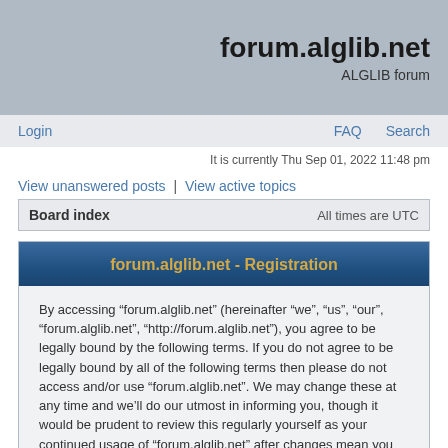forum.alglib.net
ALGLIB forum
Login | FAQ | Search
It is currently Thu Sep 01, 2022 11:48 pm
View unanswered posts | View active topics
Board index    All times are UTC
forum.alglib.net - Registration
By accessing “forum.alglib.net” (hereinafter “we”, “us”, “our”, “forum.alglib.net”, “http://forum.alglib.net”), you agree to be legally bound by the following terms. If you do not agree to be legally bound by all of the following terms then please do not access and/or use “forum.alglib.net”. We may change these at any time and we’ll do our utmost in informing you, though it would be prudent to review this regularly yourself as your continued usage of “forum.alglib.net” after changes mean you agree to be legally bound by these terms as they are updated and/or amended.
Our forums are powered by phpBB (hereinafter “they”, “them”, “their”, “phpBB software”, “www.phpbb.com”, “phpBB Group”, “phpBB Teams”) which is a bulletin board solution released under the “General Public License” (hereinafter “GPL”) and can be downloaded